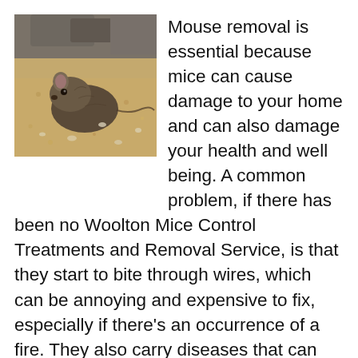[Figure (photo): A brown mouse nestled among sandy, grainy material or sandy soil, photographed close-up.]
Mouse removal is essential because mice can cause damage to your home and can also damage your health and well being. A common problem, if there has been no Woolton Mice Control Treatments and Removal Service, is that they start to bite through wires, which can be annoying and expensive to fix, especially if there's an occurrence of a fire. They also carry diseases that can even be fatal to humans. The infections can be spread very quickly if the problem goes out of control, which is why it is vitally important to cut out the problem as soon as possible, and Young's fast service helps to do